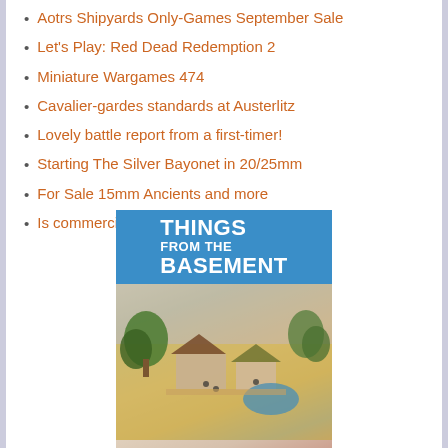Aotrs Shipyards Only-Games September Sale
Let's Play: Red Dead Redemption 2
Miniature Wargames 474
Cavalier-gardes standards at Austerlitz
Lovely battle report from a first-timer!
Starting The Silver Bayonet in 20/25mm
For Sale 15mm Ancients and more
Is commercial 3D printing a viable option?
[Figure (photo): Things from the Basement banner with blue background and white bold text, followed by two photos of miniature wargaming terrain scenes featuring Japanese-style buildings, red torii gate, trees, and figurines.]